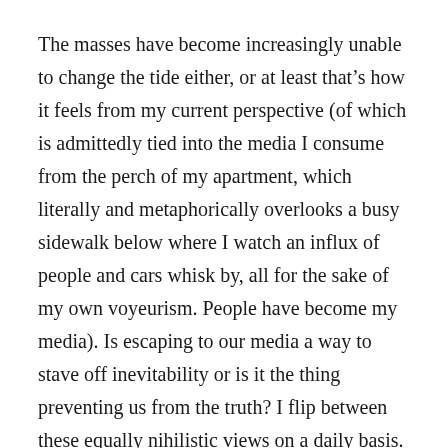The masses have become increasingly unable to change the tide either, or at least that's how it feels from my current perspective (of which is admittedly tied into the media I consume from the perch of my apartment, which literally and metaphorically overlooks a busy sidewalk below where I watch an influx of people and cars whisk by, all for the sake of my own voyeurism. People have become my media). Is escaping to our media a way to stave off inevitability or is it the thing preventing us from the truth? I flip between these equally nihilistic views on a daily basis.
I probably sound insane right now but I'm legitimately unsure, worried, and worried that I'm unsure. At the end of the day I'll keep plugging away, watching my anime,